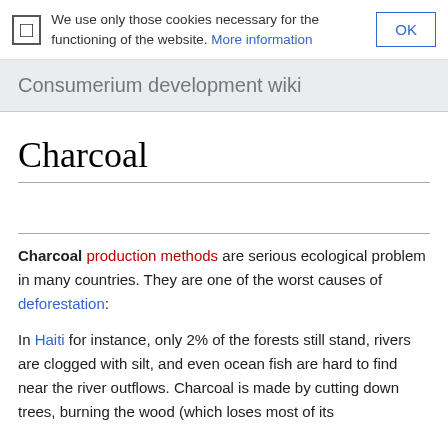We use only those cookies necessary for the functioning of the website. More information  OK
Consumerium development wiki
Charcoal
Charcoal production methods are serious ecological problem in many countries. They are one of the worst causes of deforestation:
In Haiti for instance, only 2% of the forests still stand, rivers are clogged with silt, and even ocean fish are hard to find near the river outflows. Charcoal is made by cutting down trees, burning the wood (which loses most of its